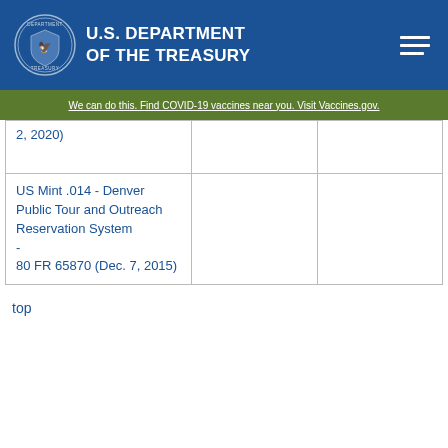U.S. DEPARTMENT OF THE TREASURY
We can do this. Find COVID-19 vaccines near you. Visit Vaccines.gov.
| 1, 2020) |  |  |
| US Mint .014 - Denver Public Tour and Outreach Reservation System -
80 FR 65870 (Dec. 7, 2015) |  |  |
top